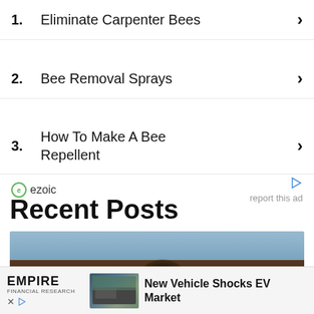1. Eliminate Carpenter Bees ›
2. Bee Removal Sprays ›
3. How To Make A Bee Repellent ›
ezoic   report this ad
Recent Posts
[Figure (photo): Close-up photo of a bee or insect, partially visible, with blurred background]
[Figure (infographic): Empire Financial Research advertisement banner — New Vehicle Shocks EV Market]